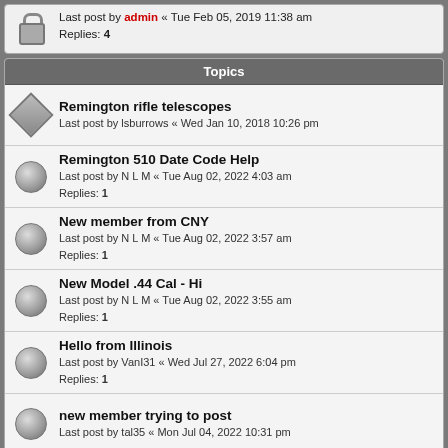Last post by admin « Tue Feb 05, 2019 11:38 am
Replies: 4
Topics
Remington rifle telescopes
Last post by lsburrows « Wed Jan 10, 2018 10:26 pm
Remington 510 Date Code Help
Last post by N L M « Tue Aug 02, 2022 4:03 am
Replies: 1
New member from CNY
Last post by N L M « Tue Aug 02, 2022 3:57 am
Replies: 1
New Model .44 Cal - Hi
Last post by N L M « Tue Aug 02, 2022 3:55 am
Replies: 1
Hello from Illinois
Last post by VanI31 « Wed Jul 27, 2022 6:04 pm
Replies: 1
new member trying to post
Last post by tal35 « Mon Jul 04, 2022 10:31 pm
Loading the Remington Model 25 Rifle
Last post by nicknfla2 « Tue May 31, 2022 7:06 pm